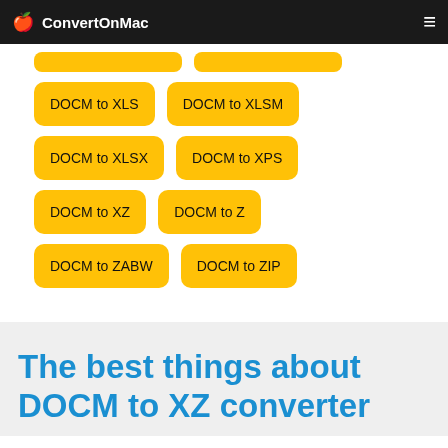ConvertOnMac
DOCM to XLS
DOCM to XLSM
DOCM to XLSX
DOCM to XPS
DOCM to XZ
DOCM to Z
DOCM to ZABW
DOCM to ZIP
The best things about DOCM to XZ converter